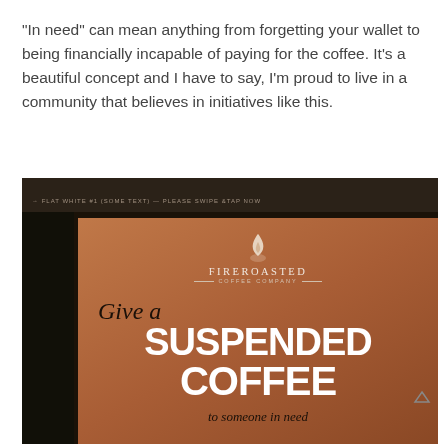"In need" can mean anything from forgetting your wallet to being financially incapable of paying for the coffee. It's a beautiful concept and I have to say, I'm proud to live in a community that believes in initiatives like this.
[Figure (photo): A framed sign from Fireroasted Coffee Company reading 'Give a SUSPENDED COFFEE to someone in need' displayed on a counter inside a coffee shop. The sign has a warm brown/terracotta background with white bold text and black italic script.]